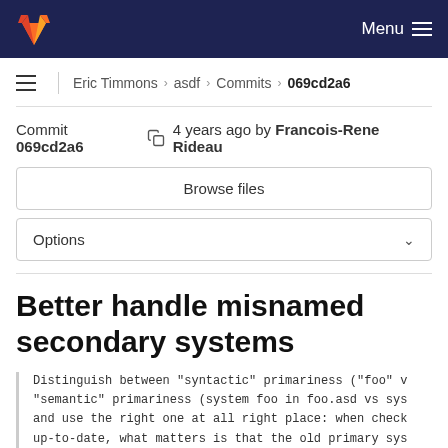GitLab Menu
Eric Timmons › asdf › Commits › 069cd2a6
Commit 069cd2a6 4 years ago by Francois-Rene Rideau
Browse files
Options
Better handle misnamed secondary systems
Distinguish between "syntactic" primariness ("foo" v "semantic" primariness (system foo in foo.asd vs sys and use the right one at all right place: when check up-to-date, what matters is that the old primary sys place as before, and is up-to-date.
This is a short it the primary disclaimer about using